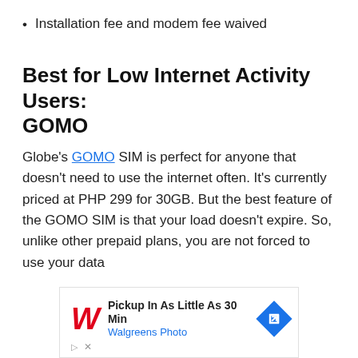Installation fee and modem fee waived
Best for Low Internet Activity Users: GOMO
Globe's GOMO SIM is perfect for anyone that doesn't need to use the internet often. It's currently priced at PHP 299 for 30GB. But the best feature of the GOMO SIM is that your load doesn't expire. So, unlike other prepaid plans, you are not forced to use your data
[Figure (infographic): Advertisement banner for Walgreens Photo: 'Pickup In As Little As 30 Min' with Walgreens logo and a blue diamond arrow icon.]